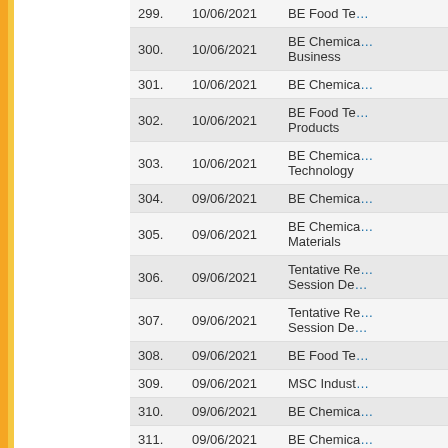| # | Date | Title |
| --- | --- | --- |
| 299. | 10/06/2021 | BE Food Te… |
| 300. | 10/06/2021 | BE Chemica… Business |
| 301. | 10/06/2021 | BE Chemica… |
| 302. | 10/06/2021 | BE Food Te… Products |
| 303. | 10/06/2021 | BE Chemica… Technology |
| 304. | 09/06/2021 | BE Chemica… |
| 305. | 09/06/2021 | BE Chemica… Materials |
| 306. | 09/06/2021 | Tentative Re… Session De… |
| 307. | 09/06/2021 | Tentative Re… Session De… |
| 308. | 09/06/2021 | BE Food Te… |
| 309. | 09/06/2021 | MSC Indust… |
| 310. | 09/06/2021 | BE Chemica… |
| 311. | 09/06/2021 | BE Chemica… |